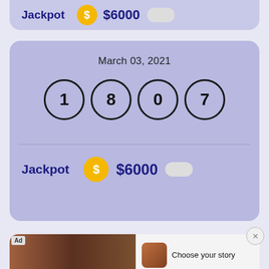Jackpot  $6000
March 03, 2021
1  8  0  7
Jackpot  $6000
[Figure (screenshot): Advertisement banner: 'Choose your story' mobile game ad with 'Play Now' button]